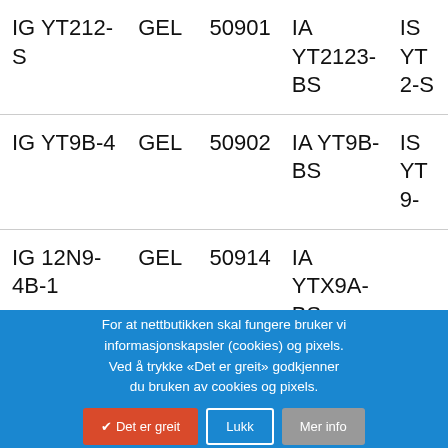| Product | Type | Code | IA Code | IS Code |
| --- | --- | --- | --- | --- |
| IG YT212-S | GEL | 50901 | IA YT2123-BS | IS YT2-S |
| IG YT9B-4 | GEL | 50902 | IA YT9B-BS | IS YT9- |
| IG 12N9-4B-1 | GEL | 50914 | IA YTX9A-BS |  |
| IG YTX12- | GEL | 51012 | IA YTX12- |  |
For at nettbutikken skal fungere bruker vi informasjonskapsler (cookies) og pixels. Ved å trykke «Det er greit» godkjenner du bruken av cookies og pixels.